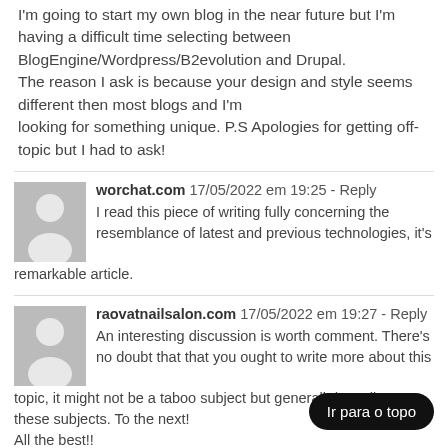I'm going to start my own blog in the near future but I'm having a difficult time selecting between BlogEngine/Wordpress/B2evolution and Drupal. The reason I ask is because your design and style seems different then most blogs and I'm looking for something unique. P.S Apologies for getting off-topic but I had to ask!
worchat.com  17/05/2022 em 19:25 - Reply
I read this piece of writing fully concerning the resemblance of latest and previous technologies, it's remarkable article.
raovatnailsalon.com  17/05/2022 em 19:27 - Reply
An interesting discussion is worth comment. There's no doubt that that you ought to write more about this topic, it might not be a taboo subject but generally don't discuss these subjects. To the next! All the best!!